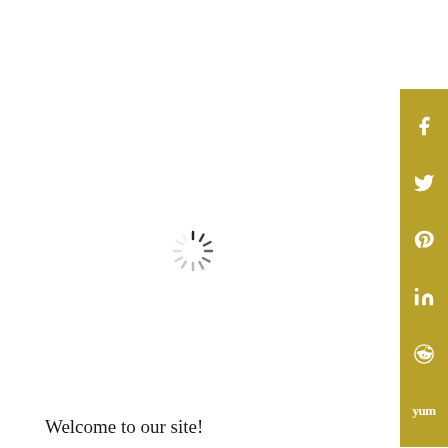[Figure (other): Loading spinner icon in center of page]
[Figure (other): Vertical golden sidebar with social media icons: Facebook, Twitter, Pinterest, LinkedIn, Reddit, Yummly]
Welcome to our site!